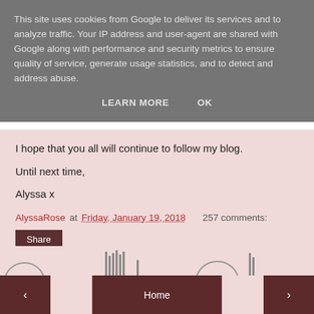This site uses cookies from Google to deliver its services and to analyze traffic. Your IP address and user-agent are shared with Google along with performance and security metrics to ensure quality of service, generate usage statistics, and to detect and address abuse.
LEARN MORE   OK
I hope that you all will continue to follow my blog.
Until next time,
Alyssa x
AlyssaRose at Friday, January 19, 2018   257 comments:
Share
‹   Home   ›